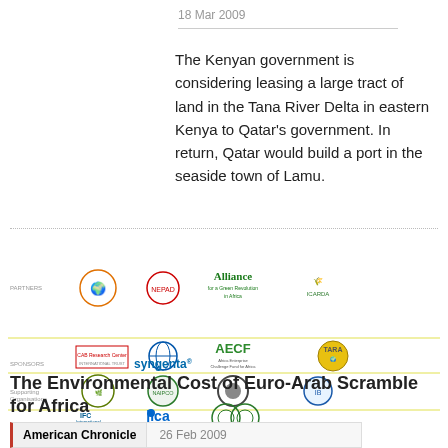18 Mar 2009
The Kenyan government is considering leasing a large tract of land in the Tana River Delta in eastern Kenya to Qatar's government. In return, Qatar would build a port in the seaside town of Lamu.
[Figure (logo): Partner and sponsor organization logos including NEPAD, Alliance for a Green Revolution in Africa, ICARDA, CAB Research Center, AECF, TARA, NAIPCO, Syngenta, IFC, JICA, and African Union logos arranged in a grid with labels for Partners, Sponsors, and Supporting Organizations]
The Environmental Cost of Euro-Arab Scramble for Africa
American Chronicle    26 Feb 2009